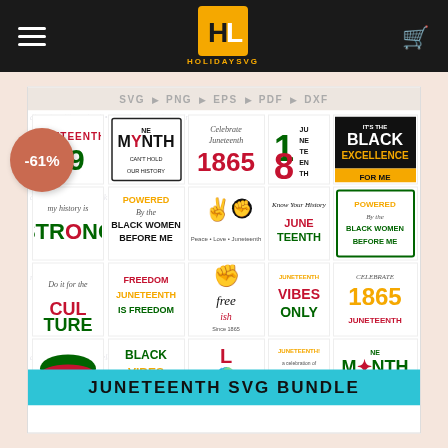HOLIDAYSVG
[Figure (screenshot): E-commerce product page screenshot showing a Juneteenth SVG Bundle with -61% discount badge. The product image shows a grid of Juneteenth-themed SVG designs including text like 'Juneteenth 19', 'Ne Month Can't Hold Our History', 'Celebrate 1865', 'Black Excellence For Me', 'Strong', 'Powered By the Black Women Before Me', 'Peace Love Juneteenth', 'Know Your History Juneteenth', 'Do It for the Culture', 'Freedom Juneteenth', 'free-ish Since 1865', 'Juneteenth Vibes Only', 'Celebrate 1865 Juneteenth', 'Juneteenth (lips)', 'Black Vibes Only', 'Love (Africa map)', 'Juneteenth celebration', 'Ne Month Can't Hold Our History'. The formats bar shows SVG, PNG, EPS, PDF, DXF. Bottom banner reads JUNETEENTH SVG BUNDLE.]